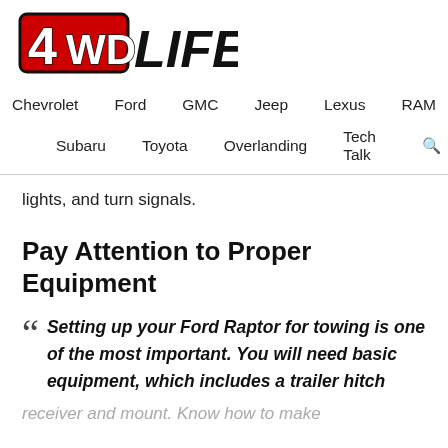[Figure (logo): 4WD LIFE logo in bold black and red text]
Chevrolet   Ford   GMC   Jeep   Lexus   RAM   Subaru   Toyota   Overlanding   Tech Talk
lights, and turn signals.
Pay Attention to Proper Equipment
“ Setting up your Ford Raptor for towing is one of the most important. You will need basic equipment, which includes a trailer hitch
receiver and mount. Know how to make